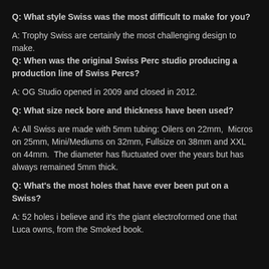Q: What style Swiss was the most difficult to make for you?
A: Trophy Swiss are certainly the most challenging design to make.
Q: When was the original Swiss Perc studio producing a production line of Swiss Percs?
A: OG Studio opened in 2009 and closed in 2012.
Q: What size neck bore and thickness have been used?
A: All Swiss are made with 5mm tubing: Oilers on 22mm, Micros on 25mm, Mini/Mediums on 32mm, Fullsize on 38mm and XXL on 44mm. The diameter has fluctuated over the years but has always remained 5mm thick.
Q: What's the most holes that have ever been put on a Swiss?
A: 52 holes i believe and it's the giant electroformed one that Luca owns, from the Smoked book.